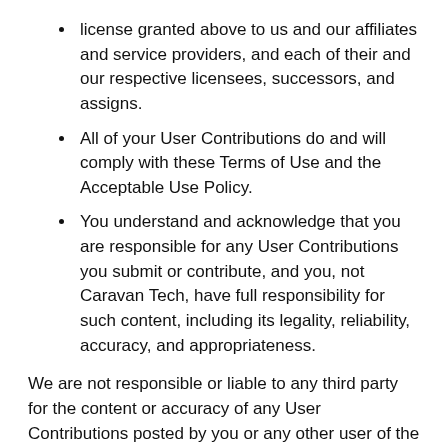license granted above to us and our affiliates and service providers, and each of their and our respective licensees, successors, and assigns.
All of your User Contributions do and will comply with these Terms of Use and the Acceptable Use Policy.
You understand and acknowledge that you are responsible for any User Contributions you submit or contribute, and you, not Caravan Tech, have full responsibility for such content, including its legality, reliability, accuracy, and appropriateness.
We are not responsible or liable to any third party for the content or accuracy of any User Contributions posted by you or any other user of the Website.
13. Monitoring and Enforcement; Termination